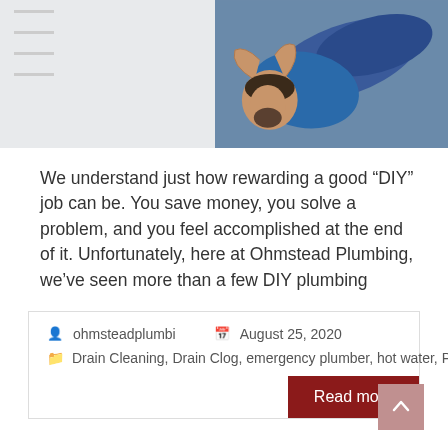[Figure (photo): Top portion: left side shows a light gray panel with horizontal lines suggesting a form or list; right side shows a photo of a person lying back with hands behind head, wearing blue jeans and a blue top.]
We understand just how rewarding a good “DIY” job can be. You save money, you solve a problem, and you feel accomplished at the end of it. Unfortunately, here at Ohmstead Plumbing, we’ve seen more than a few DIY plumbing
ohmsteadplumbi   August 25, 2020
Drain Cleaning, Drain Clog, emergency plumber, hot water, Plumber, Plumbing, shower, water heater
Read more
Why You’re Running Out of Hot